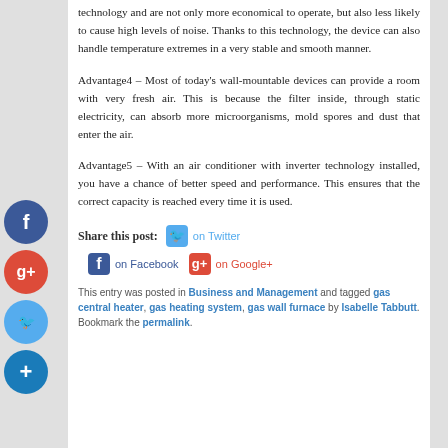technology and are not only more economical to operate, but also less likely to cause high levels of noise. Thanks to this technology, the device can also handle temperature extremes in a very stable and smooth manner.
Advantage4 – Most of today's wall-mountable devices can provide a room with very fresh air. This is because the filter inside, through static electricity, can absorb more microorganisms, mold spores and dust that enter the air.
Advantage5 – With an air conditioner with inverter technology installed, you have a chance of better speed and performance. This ensures that the correct capacity is reached every time it is used.
Share this post: on Twitter on Facebook on Google+
This entry was posted in Business and Management and tagged gas central heater, gas heating system, gas wall furnace by Isabelle Tabbutt. Bookmark the permalink.